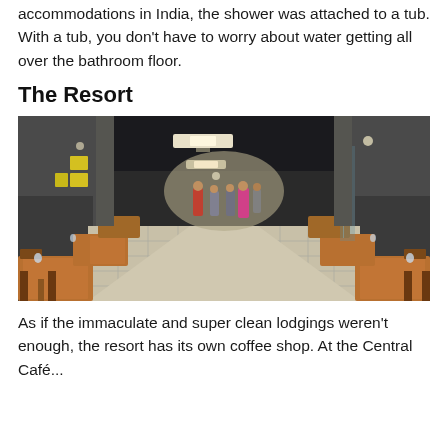accommodations in India, the shower was attached to a tub. With a tub, you don't have to worry about water getting all over the bathroom floor.
The Resort
[Figure (photo): Interior of a resort restaurant/dining area with wooden tables and chairs arranged in rows along both sides of a central aisle. Dark gray textured walls, tiled floor, ceiling lights. People visible in the background near the far end.]
As if the immaculate and super clean lodgings weren't enough, the resort has its own coffee shop. At the Central Café...